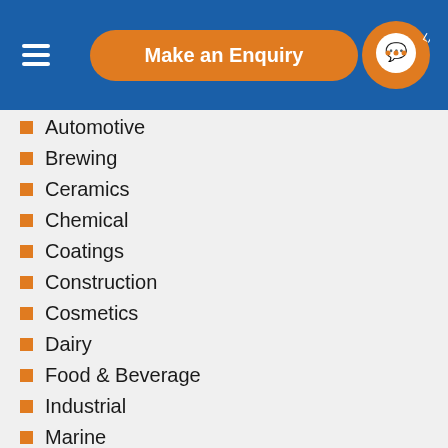Make an Enquiry
Automotive
Brewing
Ceramics
Chemical
Coatings
Construction
Cosmetics
Dairy
Food & Beverage
Industrial
Marine
Mining
Packing/Packaging
Petrochemical
Pharma/Personal Care
Printing & Ink
Recycling
Water Treatment